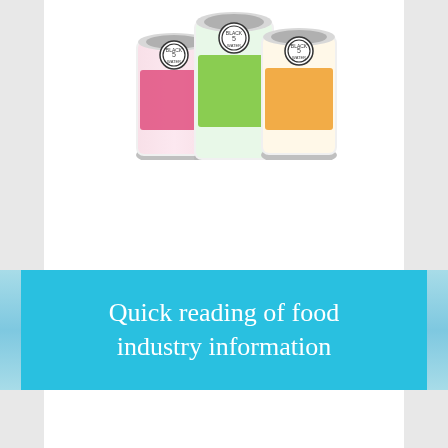[Figure (photo): Three beverage cans with colorful labels (pink/red, green, and orange) shown from above at the top of the page. Each can has a circular black and white logo on top. The cans appear to be flavored sparkling water or similar beverages.]
Quick reading of food industry information